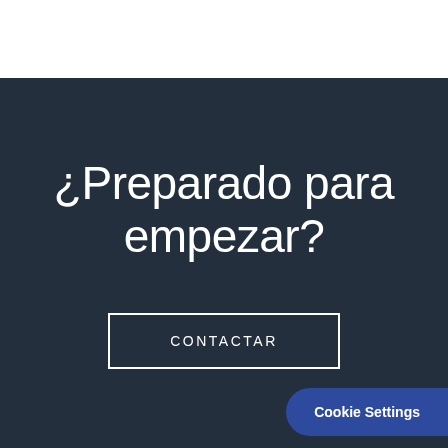¿Preparado para empezar?
CONTACTAR
Cookie Settings